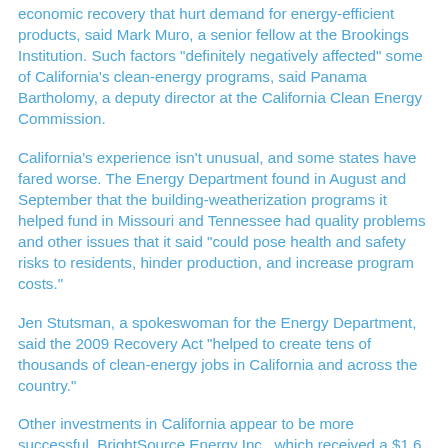economic recovery that hurt demand for energy-efficient products, said Mark Muro, a senior fellow at the Brookings Institution. Such factors "definitely negatively affected" some of California's clean-energy programs, said Panama Bartholomy, a deputy director at the California Clean Energy Commission.
California's experience isn't unusual, and some states have fared worse. The Energy Department found in August and September that the building-weatherization programs it helped fund in Missouri and Tennessee had quality problems and other issues that it said "could pose health and safety risks to residents, hinder production, and increase program costs."
Jen Stutsman, a spokeswoman for the Energy Department, said the 2009 Recovery Act "helped to create tens of thousands of clean-energy jobs in California and across the country."
Other investments in California appear to be more successful. BrightSource Energy Inc., which received a $1.6 billion loan guarantee, says it remains on track to build a project expected to nearly double the amount of solar thermal power capacity in the U.S. and create 1,400 jobs.